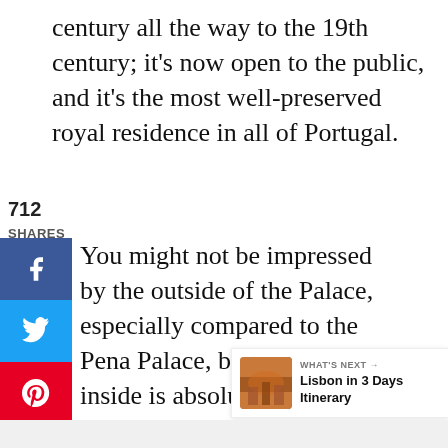century all the way to the 19th century; it's now open to the public, and it's the most well-preserved royal residence in all of Portugal.
712 SHARES
You might not be impressed by the outside of the Palace, especially compared to the Pena Palace, but trust me the inside is absolutely worth a visit.
713
WHAT'S NEXT → Lisbon in 3 Days Itinerary